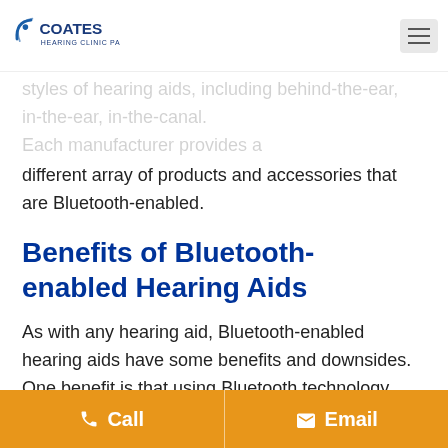Coates Hearing Clinic PA
styles of hearing aids, including behind-the-ear, in-the-ear, in-the-canal. Each manufacturer provides a different array of products and accessories that are Bluetooth-enabled.
Benefits of Bluetooth-enabled Hearing Aids
As with any hearing aid, Bluetooth-enabled hearing aids have some benefits and downsides. One benefit is that using Bluetooth technology allows you to obtain a better sound quality when
Call  Email